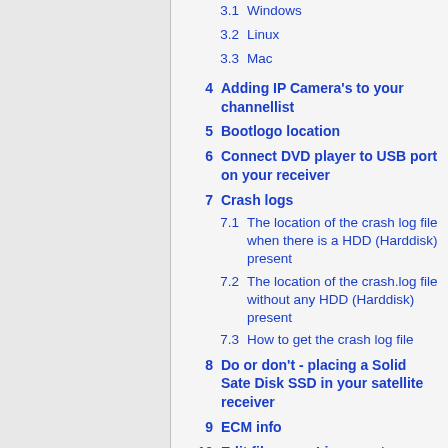3.1  Windows
3.2  Linux
3.3  Mac
4  Adding IP Camera's to your channellist
5  Bootlogo location
6  Connect DVD player to USB port on your receiver
7  Crash logs
7.1  The location of the crash log file when there is a HDD (Harddisk) present
7.2  The location of the crash.log file without any HDD (Harddisk) present
7.3  How to get the crash log file
8  Do or don't - placing a Solid Sate Disk SSD in your satellite receiver
9  ECM info
10  Edit files on a Linux system
11  EPG on USB(stick)